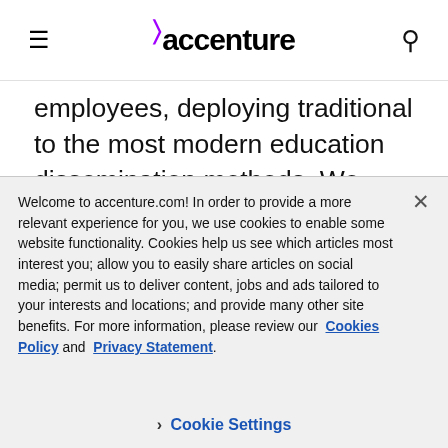accenture (navigation bar with hamburger menu and search icon)
employees, deploying traditional to the most modern education dissemination methods. We enthusiastically look forward to the next decade of growing our relationship with Accentture through the development of new
Welcome to accenture.com! In order to provide a more relevant experience for you, we use cookies to enable some website functionality. Cookies help us see which articles most interest you; allow you to easily share articles on social media; permit us to deliver content, jobs and ads tailored to your interests and locations; and provide many other site benefits. For more information, please review our Cookies Policy and Privacy Statement.
Cookie Settings